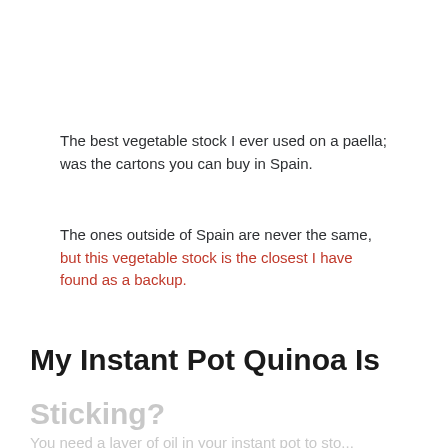The best vegetable stock I ever used on a paella; was the cartons you can buy in Spain.
The ones outside of Spain are never the same, but this vegetable stock is the closest I have found as a backup.
My Instant Pot Quinoa Is Sticking?
You need a layer of oil in your instant pot to stop...